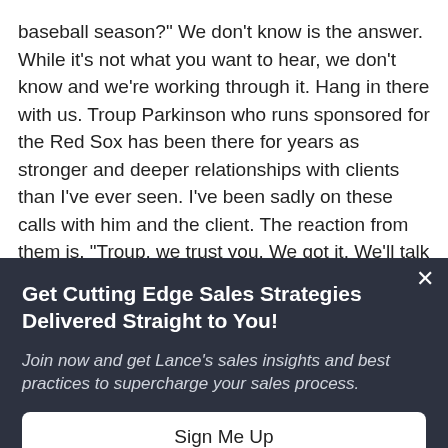baseball season?" We don't know is the answer. While it's not what you want to hear, we don't know and we're working through it. Hang in there with us. Troup Parkinson who runs sponsored for the Red Sox has been there for years as stronger and deeper relationships with clients than I've ever seen. I've been sadly on these calls with him and the client. The reaction from them is, "Troup, we trust you. We got it. We'll talk next week."
Speed round. Think of your sons. You're sitting on the edge of the desk at one on one side of you one on the other. They say, "Red...
Get Cutting Edge Sales Strategies Delivered Straight to You!
Join now and get Lance's sales insights and best practices to supercharge your sales process.
Sign Me Up